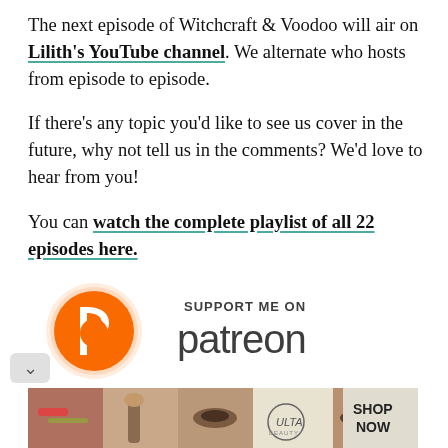The next episode of Witchcraft & Voodoo will air on Lilith's YouTube channel. We alternate who hosts from episode to episode.
If there's any topic you'd like to see us cover in the future, why not tell us in the comments? We'd love to hear from you!
You can watch the complete playlist of all 22 episodes here.
[Figure (logo): Patreon logo with 'Support Me On Patreon' text, orange circular P icon on left, dark text on right]
[Figure (photo): Ulta Beauty advertisement banner showing makeup/beauty photos and 'Shop Now' call to action]